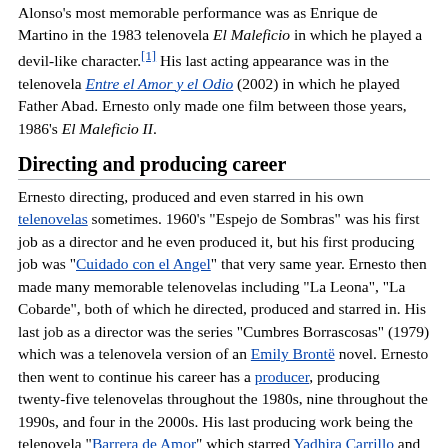Alonso's most memorable performance was as Enrique de Martino in the 1983 telenovela El Maleficio in which he played a devil-like character.[1] His last acting appearance was in the telenovela Entre el Amor y el Odio (2002) in which he played Father Abad. Ernesto only made one film between those years, 1986's El Maleficio II.
Directing and producing career
Ernesto directing, produced and even starred in his own telenovelas sometimes. 1960's "Espejo de Sombras" was his first job as a director and he even produced it, but his first producing job was "Cuidado con el Angel" that very same year. Ernesto then made many memorable telenovelas including "La Leona", "La Cobarde", both of which he directed, produced and starred in. His last job as a director was the series "Cumbres Borrascosas" (1979) which was a telenovela version of an Emily Brontë novel. Ernesto then went to continue his career has a producer, producing twenty-five telenovelas throughout the 1980s, nine throughout the 1990s, and four in the 2000s. His last producing work being the telenovela "Barrera de Amor" which starred Yadhira Carrillo and Raquel Olmedo. Ernesto was awarded the Special Golden Ariel at the Ariel Awards in 2006 for his amazing career and contributions.
Death